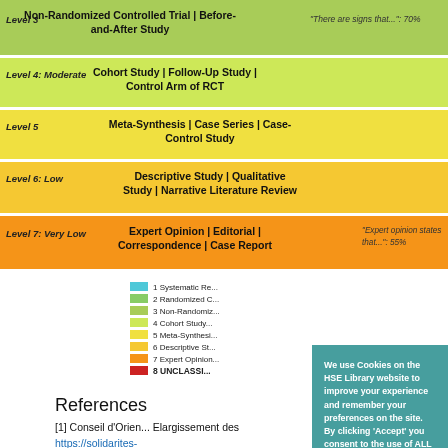[Figure (infographic): Evidence pyramid diagram showing levels 3-7. Level 3 (green): Non-Randomized Controlled Trial | Before-and-After Study, note '"There are signs that...": 70%'. Level 4 Moderate (yellow-green): Cohort Study | Follow-Up Study | Control Arm of RCT. Level 5 (yellow): Meta-Synthesis | Case Series | Case-Control Study. Level 6 Low (orange-yellow): Descriptive Study | Qualitative Study | Narrative Literature Review. Level 7 Very Low (orange): Expert Opinion | Editorial | Correspondence | Case Report, note '"Expert opinion states that...": 55%'. Legend shows swatches 1-8 with UNCLASSIFIED red swatch.]
We use Cookies on the HSE Library website to improve your experience and remember your preferences on the site. By clicking 'Accept' you consent to the use of ALL cookies. You can review Cookie settings and revise your consent by reviewing our Privacy and Cookies statement
Cookie settings   Read More   ACCEPT
References
[1] Conseil d'Orient... Elargissement des... https://solidarites-...19/COVID-19-cons...vaccinale/article/le...vaccinale. Accessed 27/07/21.